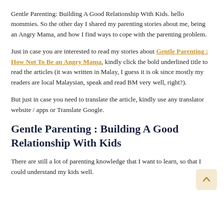Gentle Parenting: Building A Good Relationship With Kids. hello mommies. So the other day I shared my parenting stories about me, being an Angry Mama, and how I find ways to cope with the parenting problem.
Just in case you are interested to read my stories about Gentle Parenting : How Not To Be an Angry Mama, kindly click the bold underlined title to read the articles (it was written in Malay, I guess it is ok since mostly my readers are local Malaysian, speak and read BM very well, right?).
But just in case you need to translate the article, kindly use any translator website / apps or Translate Google.
Gentle Parenting : Building A Good Relationship With Kids
There are still a lot of parenting knowledge that I want to learn, so that I could understand my kids well.